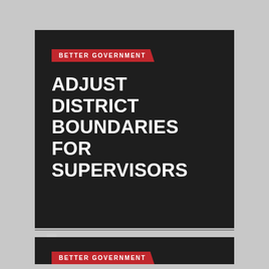BETTER GOVERNMENT
ADJUST DISTRICT BOUNDARIES FOR SUPERVISORS
11 YEARS AGO
BETTER GOVERNMENT
ENDING GARBAGE MONOPOLY IN SAN FRANCISCO